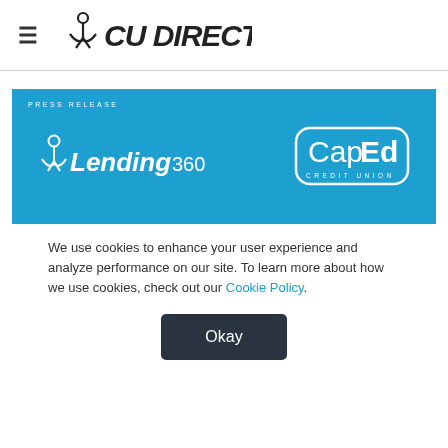[Figure (logo): CU Direct logo with hamburger menu icon on the left]
[Figure (screenshot): Blue press release banner featuring Lending360 and CapEd Credit Union logos on blue background]
We use cookies to enhance your user experience and analyze performance on our site. To learn more about how we use cookies, check out our Cookie Policy.
Okay